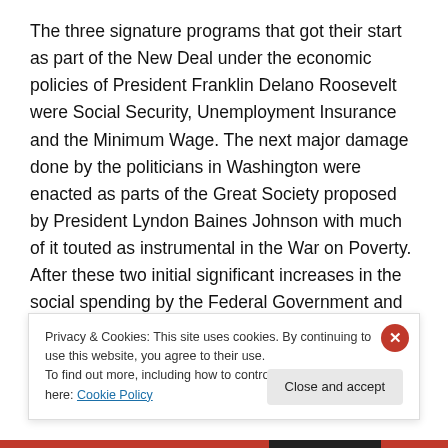The three signature programs that got their start as part of the New Deal under the economic policies of President Franklin Delano Roosevelt were Social Security, Unemployment Insurance and the Minimum Wage. The next major damage done by the politicians in Washington were enacted as parts of the Great Society proposed by President Lyndon Baines Johnson with much of it touted as instrumental in the War on Poverty. After these two initial significant increases in the social spending by the Federal Government and the companion spending which
Privacy & Cookies: This site uses cookies. By continuing to use this website, you agree to their use.
To find out more, including how to control cookies, see here: Cookie Policy